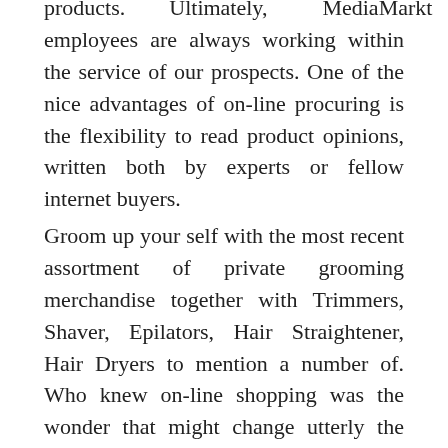products. Ultimately, MediaMarkt employees are always working within the service of our prospects. One of the nice advantages of on-line procuring is the flexibility to read product opinions, written both by experts or fellow internet buyers.
Groom up your self with the most recent assortment of private grooming merchandise together with Trimmers, Shaver, Epilators, Hair Straightener, Hair Dryers to mention a number of. Who knew on-line shopping was the wonder that might change utterly the way we buy products.